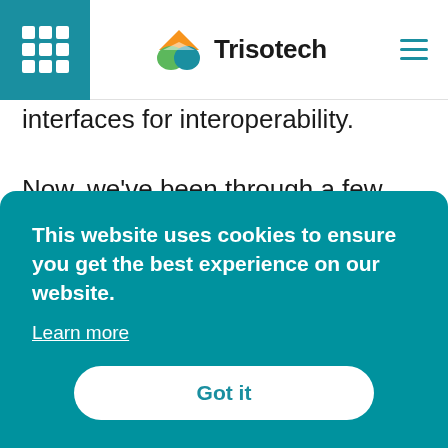Trisotech
interfaces for interoperability.
Now, we've been through a few generations of these interfaces. Some of you must remember Corba and Soap, and the current gold standard is REST. As long as the component has a RESTful API and the application knows how to make a REST call, then they can work together. Now, all of this interoperability is
This website uses cookies to ensure you get the best experience on our website.
Learn more
Got it